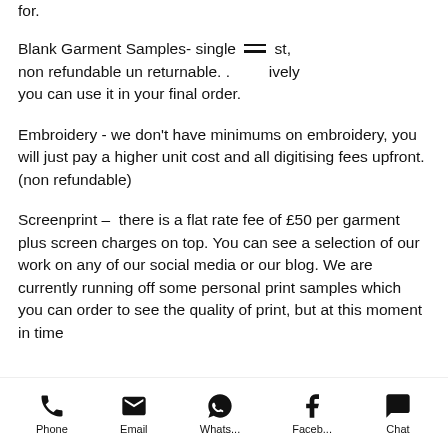for.
Blank Garment Samples- single [menu icon] st, non refundable un returnable. . . [partially visible] ively you can use it in your final order.
Embroidery - we don’t have minimums on embroidery, you will just pay a higher unit cost and all digitising fees upfront.(non refundable)
Screenprint –  there is a flat rate fee of £50 per garment plus screen charges on top. You can see a selection of our work on any of our social media or our blog. We are currently running off some personal print samples which you can order to see the quality of print, but at this moment in time [cut off]
Phone  Email  Whats...  Faceb...  Chat